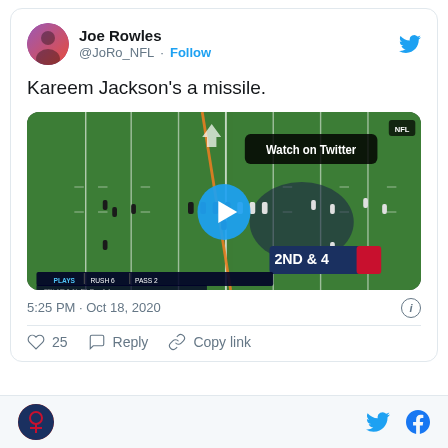Joe Rowles @JoRo_NFL · Follow
Kareem Jackson's a missile.
[Figure (screenshot): NFL game footage screenshot showing football field with players lined up, a play button overlay, 'Watch on Twitter' badge, and '2ND & 4' down-and-distance indicator with New England Patriots logo. Scoreboard bar at bottom showing PLAYS, RUSH, PASS stats.]
5:25 PM · Oct 18, 2020
25  Reply  Copy link